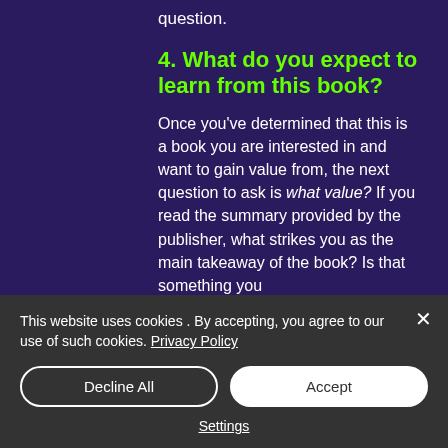question.
4. What do you expect to learn from this book?
Once you've determined that this is a book you are interested in and want to gain value from, the next question to ask is what value? If you read the summary provided by the publisher, what strikes you as the main takeaway of the book? Is that something you
This website uses cookies . By accepting, you agree to our use of such cookies. Privacy Policy
Decline All
Accept
Settings